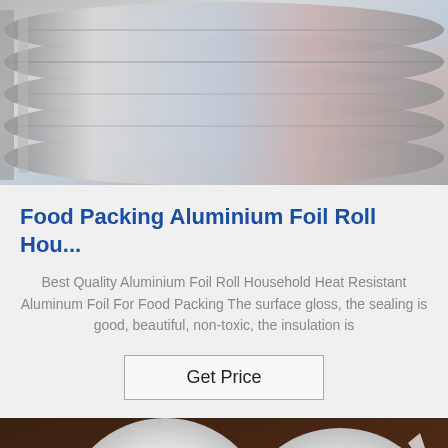[Figure (photo): Stacked aluminium foil rolls showing metallic silver surface with slight color tinting]
Food Packing Aluminium Foil Roll Hou...
Best Quality Aluminium Foil Roll Household Heat Resistant Aluminum Foil For Food Packing The surface gloss, the sealing is good, beautiful, non-toxic, the insulation is
[Figure (other): Get Price button]
[Figure (photo): Two white aluminium foil rolls on a dark brown wooden surface]